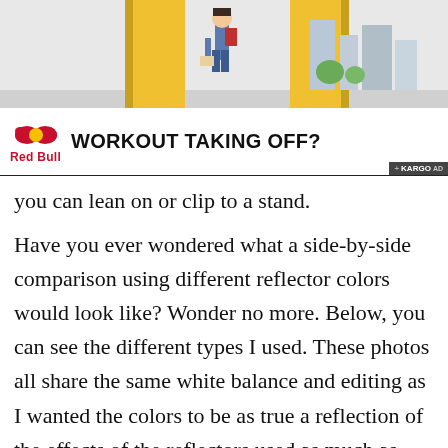[Figure (illustration): Top portion of an advertisement banner showing illustrated cityscape/street scene with a person walking with a backpack, yellow doors/panels, and city buildings in background.]
[Figure (infographic): Red Bull advertisement banner with Red Bull logo (red bulls and 'Red Bull' text) on left, bold headline 'WORKOUT TAKING OFF?' in center, and KARGO AD badge in bottom right corner.]
you can lean on or clip to a stand.
Have you ever wondered what a side-by-side comparison using different reflector colors would look like? Wonder no more. Below, you can see the different types I used. These photos all share the same white balance and editing as I wanted the colors to be as true a reflection of the effects of the reflectors used as much as possible. I've also kept the edits as clean as possible.